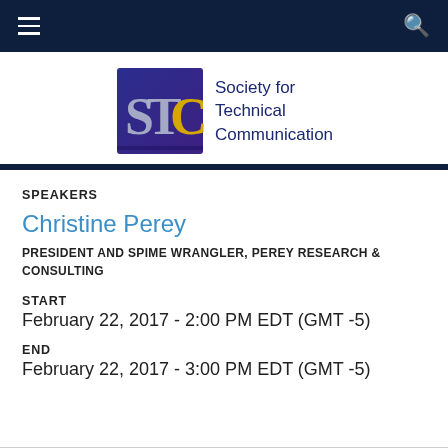[Figure (logo): STC Society for Technical Communication logo with dark blue/purple square containing STC text in silver and gold letters, beside text 'Society for Technical Communication' in dark blue]
SPEAKERS
Christine Perey
PRESIDENT AND SPIME WRANGLER, PEREY RESEARCH & CONSULTING
START
February 22, 2017 - 2:00 PM EDT (GMT -5)
END
February 22, 2017 - 3:00 PM EDT (GMT -5)